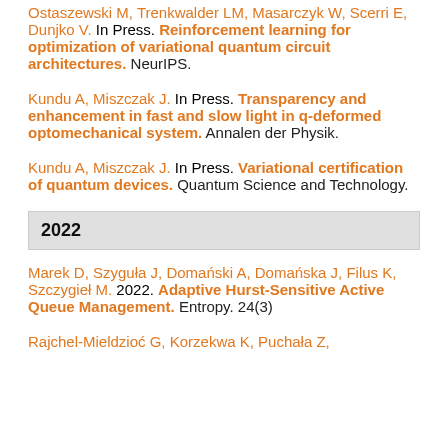Ostaszewski M, Trenkwalder LM, Masarczyk W, Scerri E, Dunjko V. In Press. Reinforcement learning for optimization of variational quantum circuit architectures. NeurIPS.
Kundu A, Miszczak J. In Press. Transparency and enhancement in fast and slow light in q-deformed optomechanical system. Annalen der Physik.
Kundu A, Miszczak J. In Press. Variational certification of quantum devices. Quantum Science and Technology.
2022
Marek D, Szyguła J, Domański A, Domańska J, Filus K, Szczygieł M. 2022. Adaptive Hurst-Sensitive Active Queue Management. Entropy. 24(3)
Rajchel-Mieldzioć G, Korzekwa K, Puchała Z,